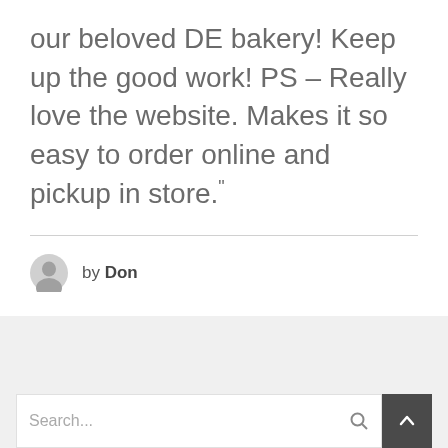our beloved DE bakery! Keep up the good work! PS – Really love the website. Makes it so easy to order online and pickup in store."
by Don
Search...